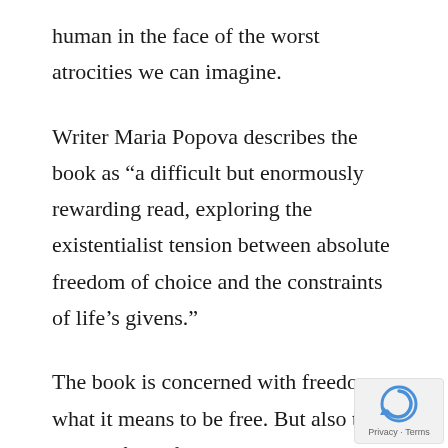human in the face of the worst atrocities we can imagine.
Writer Maria Popova describes the book as “a difficult but enormously rewarding read, exploring the existentialist tension between absolute freedom of choice and the constraints of life’s givens.”
The book is concerned with freedom, what it means to be free. But also the ethics of that freedom, and so de Beauvoir works to give us an ethical system that we can use.
[Figure (logo): Google reCAPTCHA logo with Privacy and Terms links]